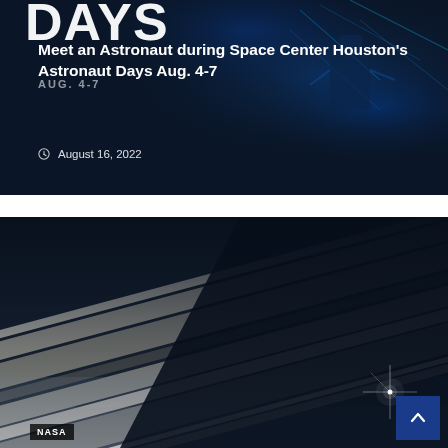[Figure (photo): Dark space-themed promotional image with 'DAYS' text and robot/space station imagery in blue tones. Overlaid text reading 'Meet an Astronaut during Space Center Houston's Astronaut Days Aug. 4-7' with date 'August 16, 2022'.]
Meet an Astronaut during Space Center Houston's Astronaut Days Aug. 4-7
AUG. 4-7
© August 16, 2022
[Figure (photo): Close-up image of Saturn's rings from the Cassini spacecraft, showing diagonal bands of light and shadow in beige, gray and dark blue tones, with a bright star flare in the lower right. NASA badge in bottom left corner.]